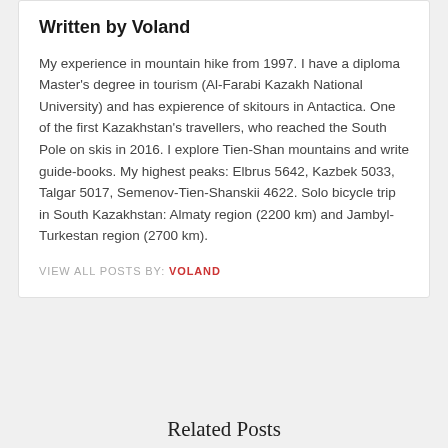Written by Voland
My experience in mountain hike from 1997. I have a diploma Master's degree in tourism (Al-Farabi Kazakh National University) and has expierence of skitours in Antactica. One of the first Kazakhstan's travellers, who reached the South Pole on skis in 2016. I explore Tien-Shan mountains and write guide-books. My highest peaks: Elbrus 5642, Kazbek 5033, Talgar 5017, Semenov-Tien-Shanskii 4622. Solo bicycle trip in South Kazakhstan: Almaty region (2200 km) and Jambyl-Turkestan region (2700 km).
VIEW ALL POSTS BY: VOLAND
Related Posts